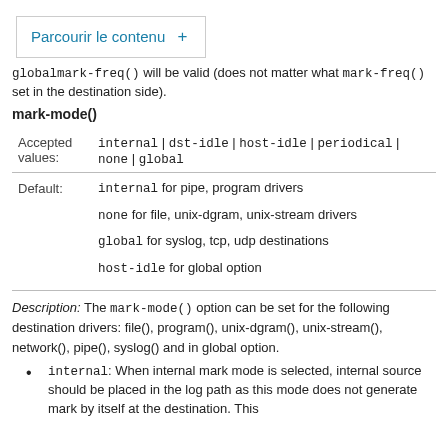Parcourir le contenu +
globalmark-freq() will be valid (does not matter what mark-freq() set in the destination side).
mark-mode()
| Accepted values: | internal | dst-idle | host-idle | periodical | none | global |
| Default: | internal for pipe, program drivers
none for file, unix-dgram, unix-stream drivers
global for syslog, tcp, udp destinations
host-idle for global option |
Description: The mark-mode() option can be set for the following destination drivers: file(), program(), unix-dgram(), unix-stream(), network(), pipe(), syslog() and in global option.
internal: When internal mark mode is selected, internal source should be placed in the log path as this mode does not generate mark by itself at the destination. This